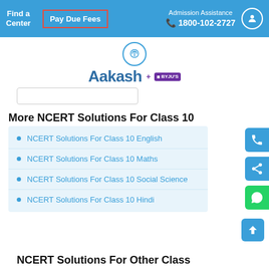Find a Center | Pay Due Fees | Admission Assistance 1800-102-2727
[Figure (logo): Aakash + BYJU'S logo with circular icon and brand name]
More NCERT Solutions For Class 10
NCERT Solutions For Class 10 English
NCERT Solutions For Class 10 Maths
NCERT Solutions For Class 10 Social Science
NCERT Solutions For Class 10 Hindi
NCERT Solutions For Other Class